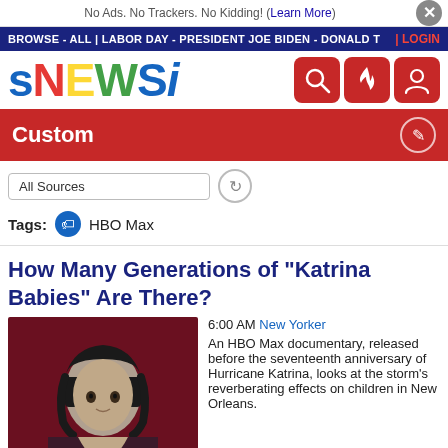No Ads. No Trackers. No Kidding! (Learn More)
BROWSE - ALL | LABOR DAY - PRESIDENT JOE BIDEN - DONALD T | LOGIN
[Figure (logo): sNEWSi logo in multicolor letters with search, fire, and user icons]
Custom
All Sources
Tags:   HBO Max
How Many Generations of "Katrina Babies" Are There?
[Figure (photo): Painted portrait of a person with dark hair against a dark red background]
6:00 AM New Yorker
An HBO Max documentary, released before the seventeenth anniversary of Hurricane Katrina, looks at the storm's reverberating effects on children in New Orleans.
Harry Potter's Tom Felton and Jason Isaacs Have